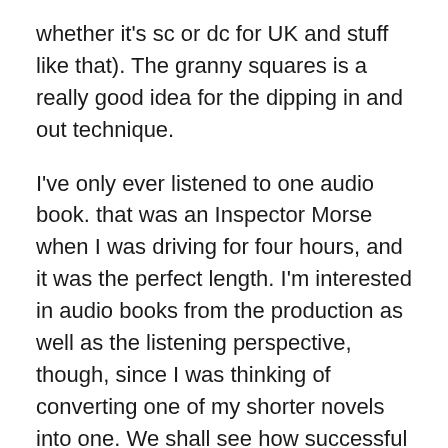whether it's sc or dc for UK and stuff like that). The granny squares is a really good idea for the dipping in and out technique.
I've only ever listened to one audio book. that was an Inspector Morse when I was driving for four hours, and it was the perfect length. I'm interested in audio books from the production as well as the listening perspective, though, since I was thinking of converting one of my shorter novels into one. We shall see how successful I am though when I attempt the recording ;P
Enjoy your vacation.